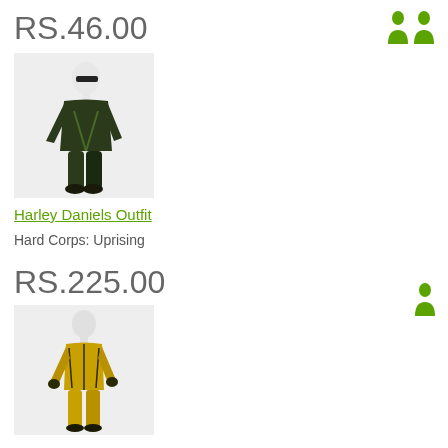RS.46.00
[Figure (illustration): 3D avatar character wearing dark military/tactical outfit with sunglasses, standing pose]
Harley Daniels Outfit
Hard Corps: Uprising
RS.225.00
[Figure (illustration): 3D avatar character wearing gold/yellow tactical outfit, standing pose]
[Figure (illustration): Two green avatar silhouette icons (top right)]
[Figure (illustration): One green avatar silhouette icon (mid right)]